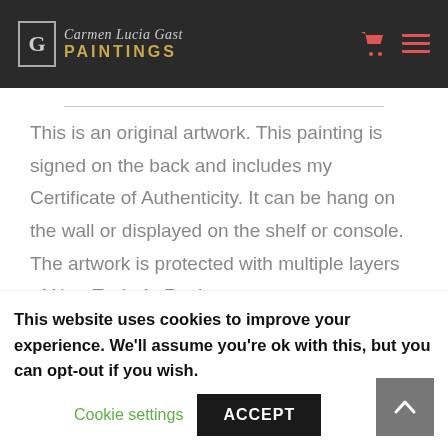[Figure (logo): Carmen Lucia Gast Paintings logo with bracket G icon, script name, and PAINTINGS in gold letters on dark background]
This is an original artwork. This painting is signed on the back and includes my Certificate of Authenticity. It can be hang on the wall or displayed on the shelf or console. The artwork is protected with multiple layers of Non-Toxic ArtResin
This website uses cookies to improve your experience. We'll assume you're ok with this, but you can opt-out if you wish.
Cookie settings   ACCEPT